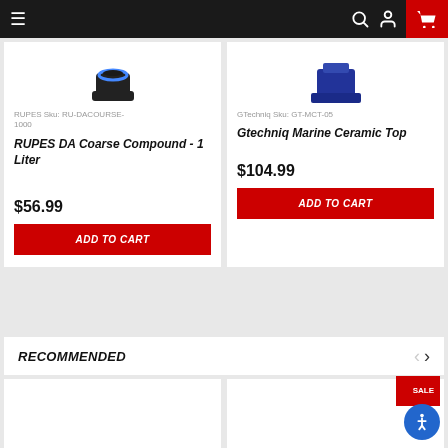Navigation bar with hamburger menu, search, user account, and shopping cart icons
RUPES Sku: RU-DACOURSE-1000
RUPES DA Coarse Compound - 1 Liter
$56.99
ADD TO CART
GTechniq Sku: GT-MCT-05
Gtechniq Marine Ceramic Top
$104.99
ADD TO CART
RECOMMENDED
[Figure (photo): Bottom product card thumbnails, partially visible]